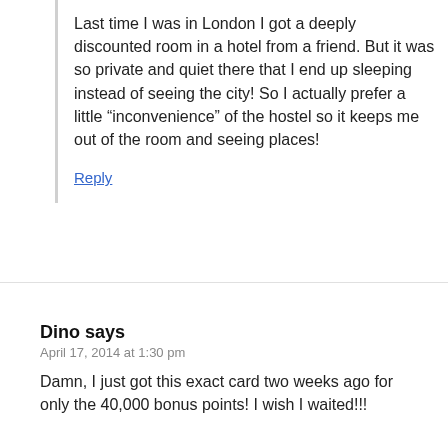Last time I was in London I got a deeply discounted room in a hotel from a friend. But it was so private and quiet there that I end up sleeping instead of seeing the city! So I actually prefer a little “inconvenience” of the hostel so it keeps me out of the room and seeing places!
Reply
Dino says
April 17, 2014 at 1:30 pm
Damn, I just got this exact card two weeks ago for only the 40,000 bonus points! I wish I waited!!!